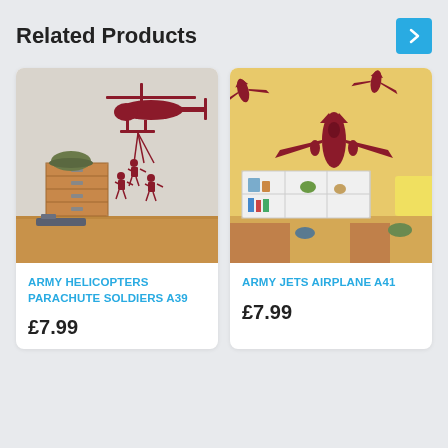Related Products
[Figure (photo): Wall sticker showing army helicopter with parachute soldiers rappelling, displayed in a room with wooden drawers and military helmet]
ARMY HELICOPTERS PARACHUTE SOLDIERS A39
£7.99
[Figure (photo): Wall sticker showing army jets airplanes, displayed in a child's room with white shelving unit and yellow cushion]
ARMY JETS AIRPLANE A41
£7.99